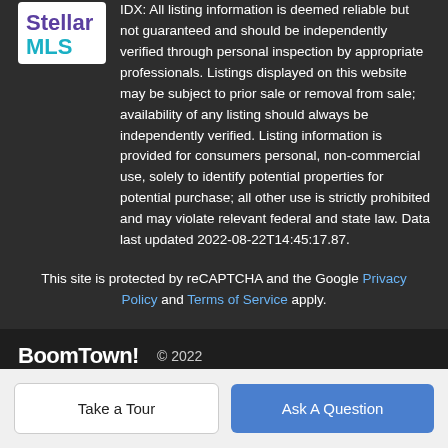IDX: All listing information is deemed reliable but not guaranteed and should be independently verified through personal inspection by appropriate professionals. Listings displayed on this website may be subject to prior sale or removal from sale; availability of any listing should always be independently verified. Listing information is provided for consumers personal, non-commercial use, solely to identify potential properties for potential purchase; all other use is strictly prohibited and may violate relevant federal and state law. Data last updated 2022-08-22T14:45:17.87.
This site is protected by reCAPTCHA and the Google Privacy Policy and Terms of Service apply.
BoomTown! © 2022 | Terms of Use | Privacy Policy | Accessibility | DMCA | Listings Sitemap
Take a Tour | Ask A Question